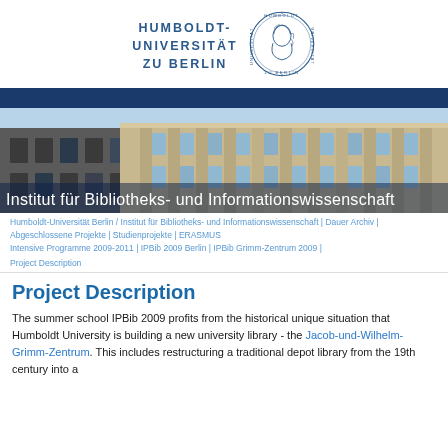HUMBOLDT-
UNIVERSITÄT
ZU BERLIN
[Figure (logo): Humboldt-Universität zu Berlin circular seal logo with profile portrait]
[Figure (photo): Exterior photo of a historic university building with classical architecture columns]
Institut für Bibliotheks- und Informationswissenschaft
Humboldt-Universität Berlin / Institut für Bibliotheks- und Informationswissenschaft | Dauer Archiv | Abgeschlossene Projekte | Studienprojekte | ERASMUS Intensive Programme 2009-2011 | IPBib 2009 Berlin | IPBib Grimm-Zentrum 2009 | Project Description
Project Description
The summer school IPBib 2009 profits from the historical unique situation that Humboldt University is building a new university library - the Jacob-und-Wilhelm-Grimm-Zentrum. This includes restructuring a traditional depot library from the 19th century into a